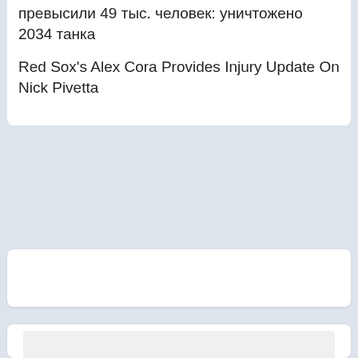превысили 49 тыс. человек: уничтожено 2034 танка
Red Sox's Alex Cora Provides Injury Update On Nick Pivetta
[Figure (other): Empty white card/ad placeholder]
[Figure (screenshot): Yahoo Search sponsored ad widget with 'Search for' label, two search items: 01. Best 5G Senior Cell Phone Plans, 02. Custom Digital Display Signage, and a green X close button]
01. Best 5G Senior Cell Phone Plans
02. Custom Digital Display Signage
Yahoo! Search | Sponsored